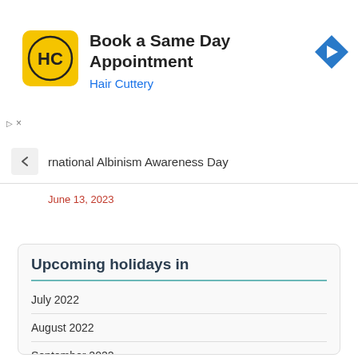[Figure (logo): Hair Cuttery ad banner with HC logo, text 'Book a Same Day Appointment', 'Hair Cuttery', and a blue navigation arrow icon]
rnational Albinism Awareness Day
June 13, 2023
Upcoming holidays in
July 2022
August 2022
September 2022
October 2022
November 2022